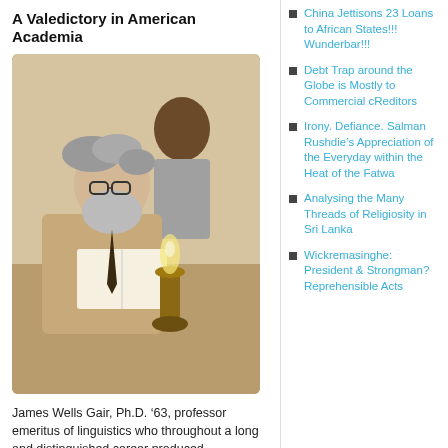A Valedictory in American Academia
[Figure (photo): Two men sitting at a table in a room lit by a kerosene lamp. One older bearded man with glasses reads a book; another man sits behind him.]
James Wells Gair, Ph.D. ’63, professor emeritus of linguistics who throughout a long and distinguished career produced groundbreaking work on South Asian languages and their
China Jettisons 23 Loans to African States!!! Wunderbar!!!
Debt Trap around the Globe is Mostly to Commercial cReditors
Irony. Defiance. Salman Rushdie’s Appreciation of the Everyday within the Heat of the Fatwa
Analysing the Many Threads of Religiosity in Sri Lanka
Wickremasinghe: President & Strongman? Reprehensible Acts